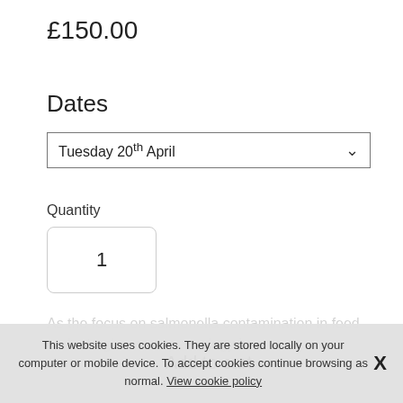£150.00
Dates
Tuesday 20th April
Quantity
1
Add to cart
As the focus on salmonella contamination in feed and... to give an exp... ology in
This website uses cookies. They are stored locally on your computer or mobile device. To accept cookies continue browsing as normal. View cookie policy